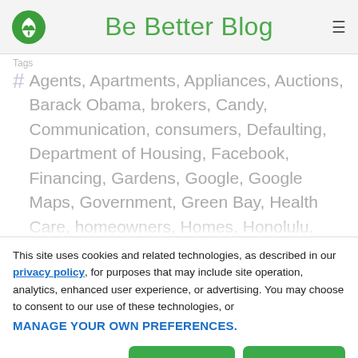Be Better Blog
Tags
Agents, Apartments, Appliances, Auctions, Barack Obama, brokers, Candy, Communication, consumers, Defaulting, Department of Housing, Facebook, Financing, Gardens, Google, Google Maps, Government, Green Bay, Health Care, homeowners, Homes, Honolulu, Hotels, Housing Market, Investing, iPhone, loans, ...
This site uses cookies and related technologies, as described in our privacy policy, for purposes that may include site operation, analytics, enhanced user experience, or advertising. You may choose to consent to our use of these technologies, or MANAGE YOUR OWN PREFERENCES.